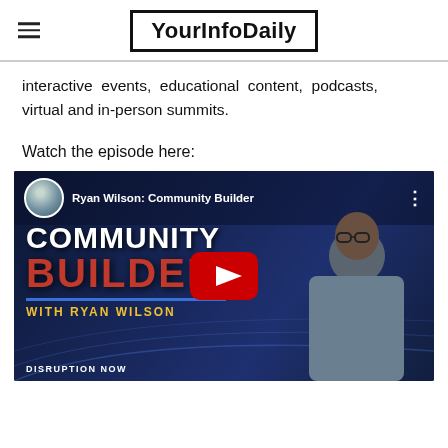YourInfoDaily
interactive events, educational content, podcasts, virtual and in-person summits.
Watch the episode here:
[Figure (screenshot): YouTube video thumbnail for 'Ryan Wilson: Community Builder' podcast episode. Dark blue background with city skyline. Text reads COMMUNITY BUILDER in white and red, WITH RYAN WILSON in gold. A man in a denim jacket stands on the right. YouTube play button in center. DISRUPTION NOW text at bottom left.]